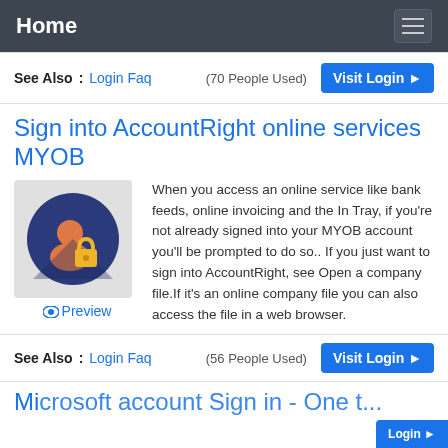Home
See Also: Login Faq (70 People Used) Visit Login ▶
Sign into AccountRight online services MYOB
[Figure (illustration): Icon showing a person silhouette with a padlock on a dark blue circle background, with a checkered/light gray rectangular background. Below it a Preview link with an eye icon.]
When you access an online service like bank feeds, online invoicing and the In Tray, if you're not already signed into your MYOB account you'll be prompted to do so.. If you just want to sign into AccountRight, see Open a company file.If it's an online company file you can also access the file in a web browser.
See Also: Login Faq (56 People Used) Visit Login ▶
Microsoft account Sign in - One t...